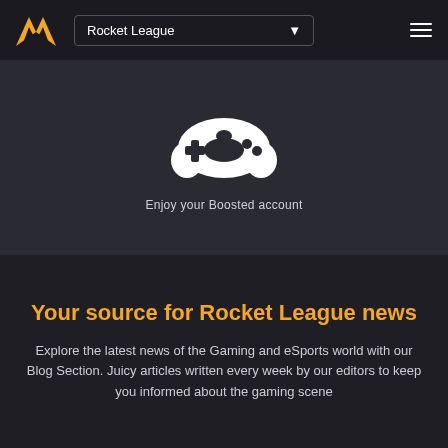[Figure (logo): Yellow/gold triangular M logo mark]
Rocket League
[Figure (illustration): White game controller / gamepad icon on dark background]
Enjoy your Boosted account
Your source for Rocket League news
Explore the latest news of the Gaming and eSports world with our Blog Section. Juicy articles written every week by our editors to keep you informed about the gaming scene